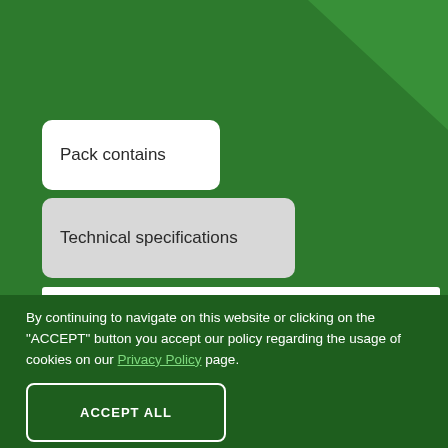[Figure (screenshot): Green website background with diagonal lighter green accent in top-right corner]
Pack contains
Technical specifications
By continuing to navigate on this website or clicking on the "ACCEPT" button you accept our policy regarding the usage of cookies on our Privacy Policy page.
ACCEPT ALL